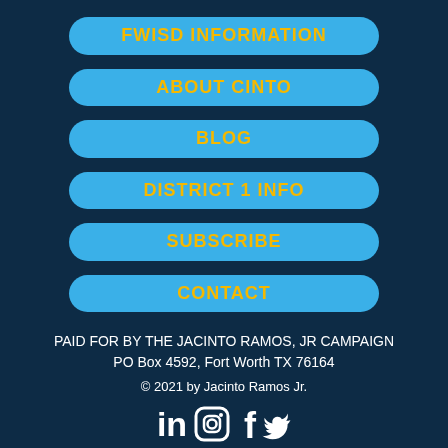FWISD INFORMATION
ABOUT CINTO
BLOG
DISTRICT 1 INFO
SUBSCRIBE
CONTACT
PAID FOR BY THE JACINTO RAMOS, JR CAMPAIGN
PO Box 4592, Fort Worth TX 76164
© 2021 by Jacinto Ramos Jr.
[Figure (infographic): Social media icons: LinkedIn, Instagram, Facebook, Twitter in white]